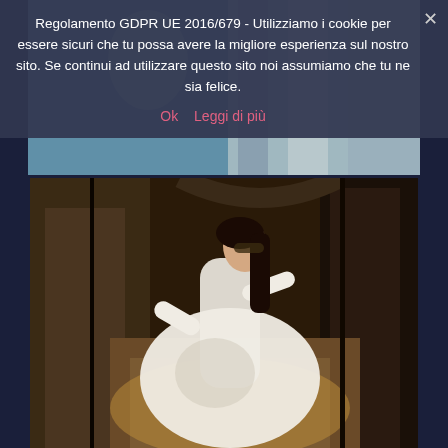[Figure (photo): Partially visible top image of a person in light clothing, obscured by cookie consent banner overlay]
Regolamento GDPR UE 2016/679 - Utilizziamo i cookie per essere sicuri che tu possa avere la migliore esperienza sul nostro sito. Se continui ad utilizzare questo sito noi assumiamo che tu ne sia felice.
Ok   Leggi di più
[Figure (photo): Young woman in a white flowing dress leaning against ancient stone architecture (arched doorway/ruins), with long dark hair, shot in warm dramatic lighting from below]